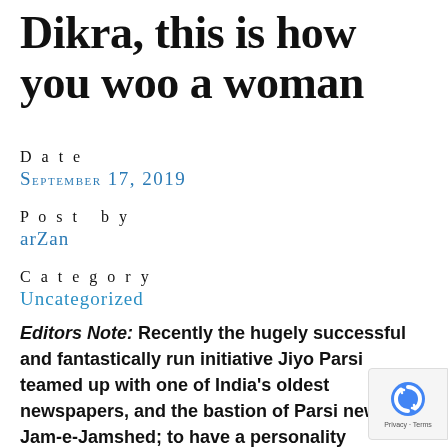Dikra, this is how you woo a woman
Date
September 17, 2019
Post by
arZan
Category
Uncategorized
Editors Note: Recently the hugely successful and fantastically run initiative Jiyo Parsi teamed up with one of India's oldest newspapers, and the bastion of Parsi news Jam-e-Jamshed; to have a personality development and grooming workshop for Parsi males between the ages of 18-45. While